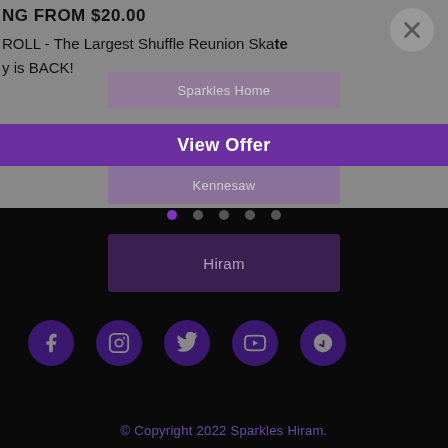NG FROM $20.00
ROLL - The Largest Shuffle Reunion Skate y is BACK!
Sparkles Home
View Offer
Kennesaw
Hiram
[Figure (infographic): Social media icons row: Facebook, Instagram, Twitter, YouTube, Yelp — dark purple circular buttons on black background]
© Copyright 2022 Sparkles Hiram.